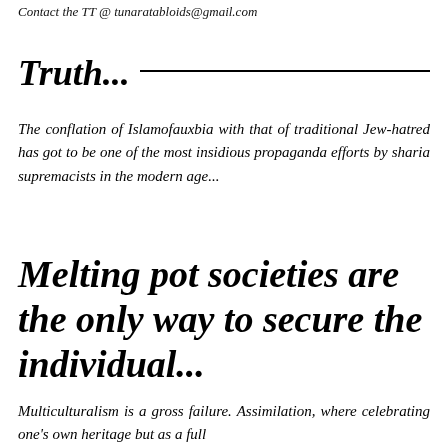Contact the TT @ tunaratabloids@gmail.com
Truth...
The conflation of Islamofauxbia with that of traditional Jew-hatred has got to be one of the most insidious propaganda efforts by sharia supremacists in the modern age...
Melting pot societies are the only way to secure the individual...
Multiculturalism is a gross failure. Assimilation, where celebrating one's own heritage but as a full